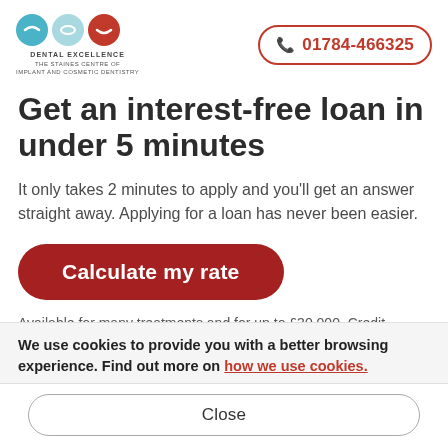THE STAINES CENTRE OF DENTAL EXCELLENCE IMPLANT AND COSMETIC DENTISTRY | 01784-466325
Get an interest-free loan in under 5 minutes
It only takes 2 minutes to apply and you'll get an answer straight away. Applying for a loan has never been easier.
Calculate my rate
Available for many treatments and for up to £30,000. Credit
We use cookies to provide you with a better browsing experience. Find out more on how we use cookies.
Close